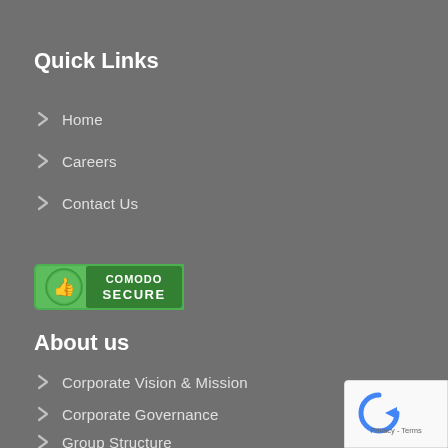Quick Links
Home
Careers
Contact Us
[Figure (logo): Comodo Secure badge with green thumbs-up icon and green shield logo]
About us
Corporate Vision & Mission
Corporate Governance
Group Structure
Board of Directors
[Figure (logo): Google reCAPTCHA badge with blue arrow icon and Privacy - Terms text]